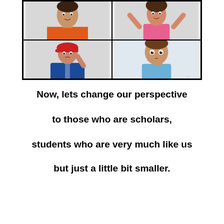[Figure (photo): A 2x2 grid of photos of children: top-left shows a child in an orange shirt, top-right shows a child in a pink top with arms raised, bottom-left shows a child in a blue baseball uniform and red hat with hand on head, bottom-right shows a young boy in a light blue shirt with hand near mouth.]
Now, lets change our perspective
to those who are scholars,
students who are very much like us
but just a little bit smaller.